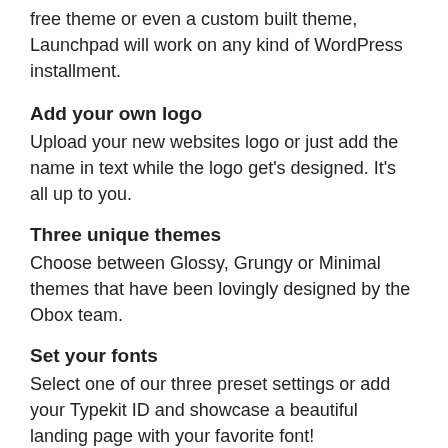free theme or even a custom built theme, Launchpad will work on any kind of WordPress installment.
Add your own logo
Upload your new websites logo or just add the name in text while the logo get's designed. It's all up to you.
Three unique themes
Choose between Glossy, Grungy or Minimal themes that have been lovingly designed by the Obox team.
Set your fonts
Select one of our three preset settings or add your Typekit ID and showcase a beautiful landing page with your favorite font!
Eleven gorgeous backgrounds
We have included eleven amazing backgrounds to can choose from, however if you decide that you want something more unique, simply upload your own